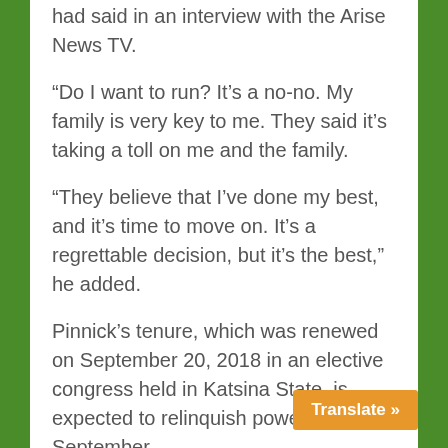had said in an interview with the Arise News TV.
“Do I want to run? It’s a no-no. My family is very key to me. They said it’s taking a toll on me and the family.
“They believe that I’ve done my best, and it’s time to move on. It’s a regrettable decision, but it’s the best,” he added.
Pinnick’s tenure, which was renewed on September 20, 2018 in an elective congress held in Katsina State, is expected to relinquish powers in September.
However, findings by this paper indicate that the former Delta State Football Association Chairman is working assiduously secretly for a office.